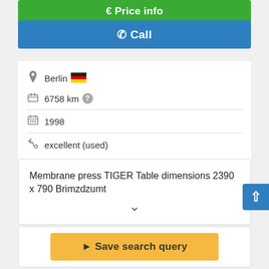€ Price info
✆ Call
Berlin 🇩🇪
6758 km ?
1998
excellent (used)
Membrane press TIGER Table dimensions 2390 x 790 Brimzdzumt
Save search query